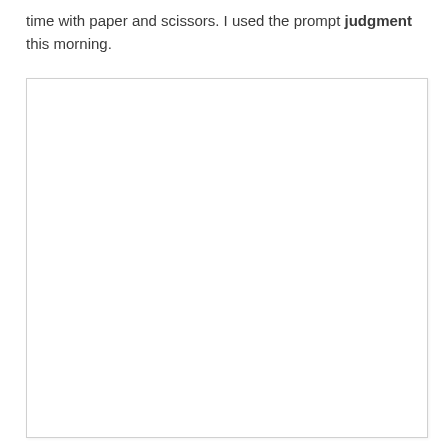time with paper and scissors. I used the prompt judgment this morning.
[Figure (other): A blank white rectangular image area with a light border, occupying the lower portion of the page.]